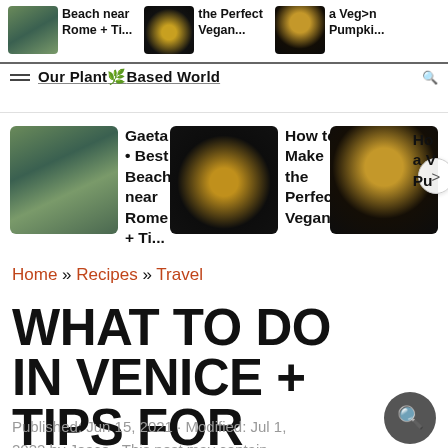[Figure (screenshot): Top browser navigation bar showing thumbnail links: 'Beach near Rome + Ti...', 'the Perfect Vegan...', 'a Veg... Pumpki...' with site logo 'Our Plant Based World']
[Figure (screenshot): Three article cards with images: 'Gaeta • Best Beach near Rome + Ti...' with coastal city image, 'How to Make the Perfect Vegan...' with food image, 'Ho... a V... Pu...' with latte image, plus navigation arrow]
Home » Recipes » Travel
WHAT TO DO IN VENICE + TIPS FOR VEGANS
Published: Jun 15, 2021 · Modified: Jul 1, 2022 by Joaco · This post may contain